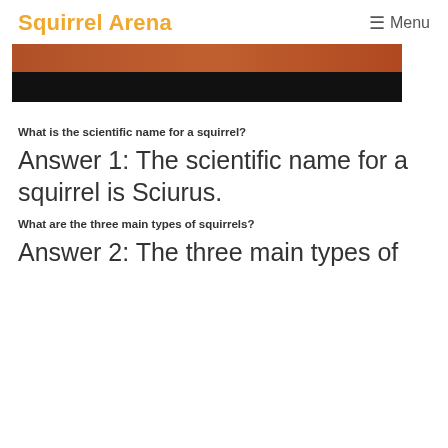Squirrel Arena   ☰ Menu
[Figure (photo): Partially visible photo of squirrel-related content with a dark bottom band; image is cropped at top of page.]
What is the scientific name for a squirrel?
Answer 1: The scientific name for a squirrel is Sciurus.
What are the three main types of squirrels?
Answer 2: The three main types of